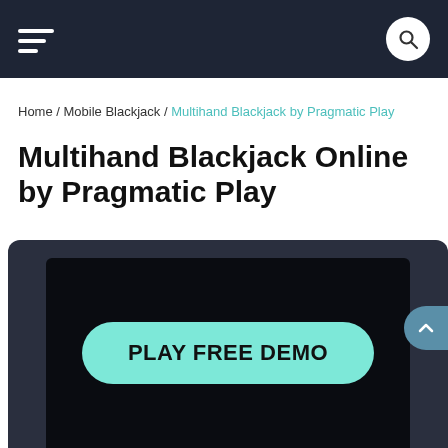Navigation bar with hamburger menu and search button
Home / Mobile Blackjack / Multihand Blackjack by Pragmatic Play
Multihand Blackjack Online by Pragmatic Play
[Figure (screenshot): Game demo area with dark background and a teal 'PLAY FREE DEMO' button centered in the frame]